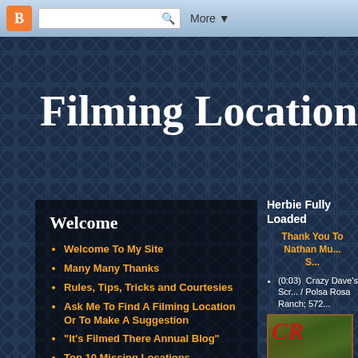Blogger navigation bar with search box and More button
Filming Locations of
Welcome
Welcome To My Site
Many Many Thanks
Rules, Tips, Tricks and Courtesies
Ask Me To Find A Filming Location Or To Make A Suggestion
"It's Filmed There Annual Blog"
Top 10 Missing Locations
Recent Additions To The Site
Herbie Fully Loaded
Thank You To Nathan Mu... S...
(0:03)  Crazy Dave's Scr... / Polsa Rosa Ranch; 572...
[Figure (photo): Sign photo with red text partially visible showing 'CR' and 'SC' letters on a wooden sign with foliage in background]